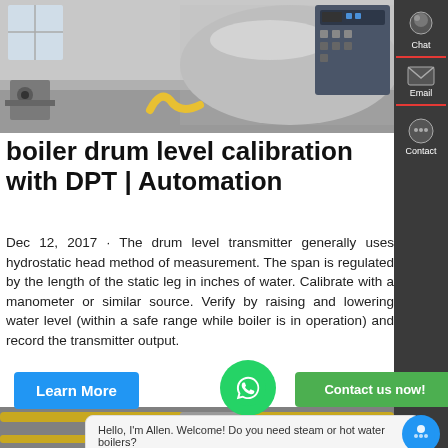[Figure (photo): Industrial boiler drum in a factory setting, large cylindrical silver vessel with yellow hoses and control panel]
boiler drum level calibration with DPT | Automation
Dec 12, 2017 · The drum level transmitter generally uses hydrostatic head method of measurement. The span is regulated by the length of the static leg in inches of water. Calibrate with a manometer or similar source. Verify by raising and lowering water level (within a safe range while boiler is in operation) and record the transmitter output.
[Figure (photo): Industrial boiler room interior with yellow pipes, boilers, and gauges]
Hello, I'm Allen. Welcome! Do you need steam or hot water boilers?